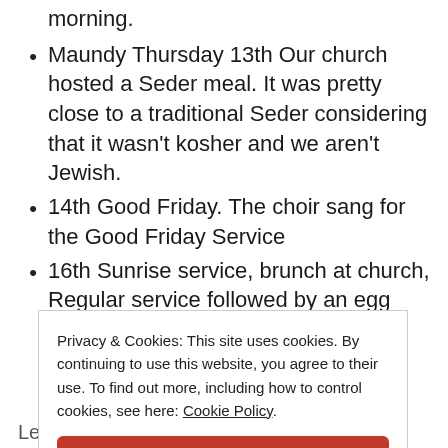morning.
Maundy Thursday 13th Our church hosted a Seder meal. It was pretty close to a traditional Seder considering that it wasn't kosher and we aren't Jewish.
14th Good Friday. The choir sang for the Good Friday Service
16th Sunrise service, brunch at church, Regular service followed by an egg hunt
Privacy & Cookies: This site uses cookies. By continuing to use this website, you agree to their use. To find out more, including how to control cookies, see here: Cookie Policy
Close and accept
Leigha and kids